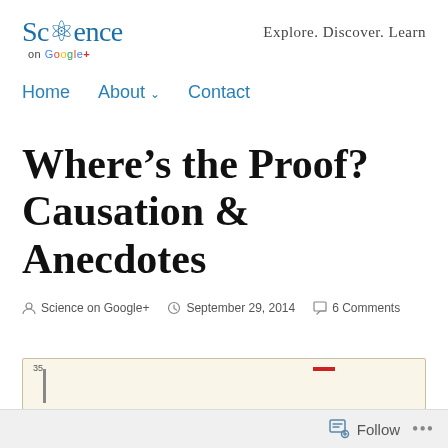[Figure (logo): Science on Google+ logo with atom icon and tagline 'Explore. Discover. Learn']
Home   About   Contact
Where’s the Proof? Causation & Anecdotes
Science on Google+   September 29, 2014   6 Comments
[Figure (other): Partial chart preview showing y-axis label 35 and a red legend line]